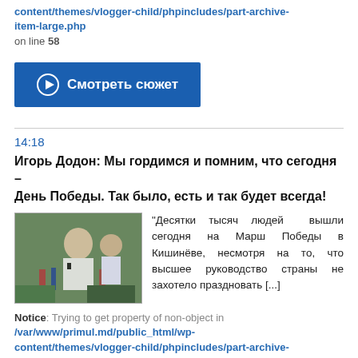content/themes/vlogger-child/phpincludes/part-archive-item-large.php on line 58
[Figure (other): Blue button with play icon labeled 'Смотреть сюжет']
14:18
Игорь Додон: Мы гордимся и помним, что сегодня – День Победы. Так было, есть и так будет всегда!
[Figure (photo): Photo of Igor Dodon speaking at a press conference outdoors with microphones]
"Десятки тысяч людей  вышли сегодня на Марш Победы в Кишинёве, несмотря на то, что высшее руководство страны не захотело праздновать [...]
Notice: Trying to get property of non-object in /var/www/primul.md/public_html/wp-content/themes/vlogger-child/phpincludes/part-archive-